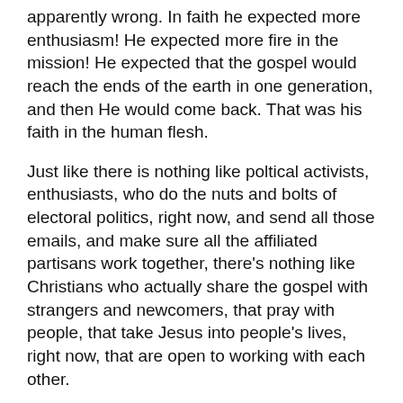apparently wrong. In faith he expected more enthusiasm! He expected more fire in the mission! He expected that the gospel would reach the ends of the earth in one generation, and then He would come back. That was his faith in the human flesh.
Just like there is nothing like poltical activists, enthusiasts, who do the nuts and bolts of electoral politics, right now, and send all those emails, and make sure all the affiliated partisans work together, there's nothing like Christians who actually share the gospel with strangers and newcomers, that pray with people, that take Jesus into people's lives, right now, that are open to working with each other.
Don't get me wrong, I've been well trained up in the church system of slowing people down, of hierarchy,  and yes I know it's better to measure twice and cut once, even in ministry, but so much of Christianity suffers from